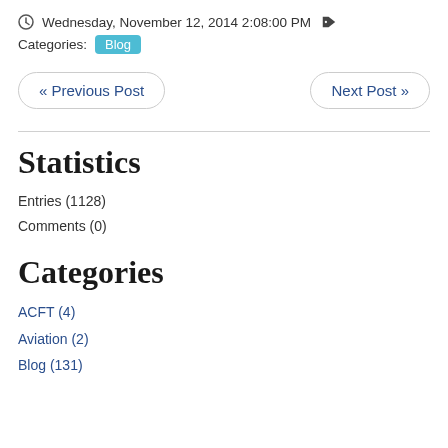Wednesday, November 12, 2014 2:08:00 PM
Categories: Blog
« Previous Post
Next Post »
Statistics
Entries (1128)
Comments (0)
Categories
ACFT (4)
Aviation (2)
Blog (131)